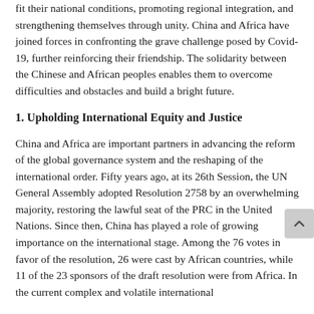fit their national conditions, promoting regional integration, and strengthening themselves through unity. China and Africa have joined forces in confronting the grave challenge posed by Covid-19, further reinforcing their friendship. The solidarity between the Chinese and African peoples enables them to overcome difficulties and obstacles and build a bright future.
1. Upholding International Equity and Justice
China and Africa are important partners in advancing the reform of the global governance system and the reshaping of the international order. Fifty years ago, at its 26th Session, the UN General Assembly adopted Resolution 2758 by an overwhelming majority, restoring the lawful seat of the PRC in the United Nations. Since then, China has played a role of growing importance on the international stage. Among the 76 votes in favor of the resolution, 26 were cast by African countries, while 11 of the 23 sponsors of the draft resolution were from Africa. In the current complex and volatile international